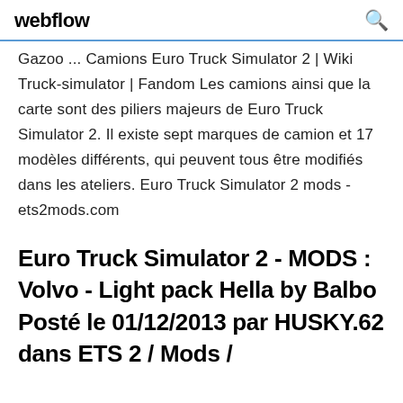webflow
Gazoo ... Camions Euro Truck Simulator 2 | Wiki Truck-simulator | Fandom Les camions ainsi que la carte sont des piliers majeurs de Euro Truck Simulator 2. Il existe sept marques de camion et 17 modèles différents, qui peuvent tous être modifiés dans les ateliers. Euro Truck Simulator 2 mods - ets2mods.com
Euro Truck Simulator 2 - MODS : Volvo - Light pack Hella by Balbo Posté le 01/12/2013 par HUSKY.62 dans ETS 2 / Mods /